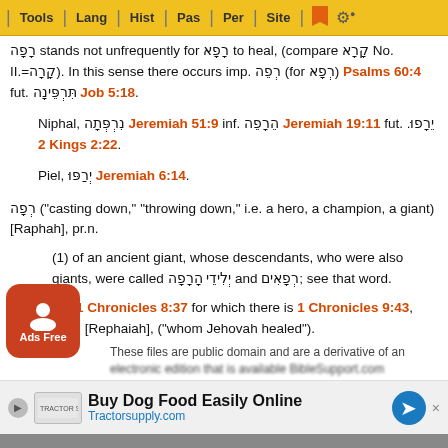Tools | Lang | Hist | Pas | Per | Site
רָפָה stands not unfrequently for רָפָא to heal, (compare קָרָא No. II.=קָרָה). In this sense there occurs imp. רְפֵה (for רְפָא) Psalms 60:4 fut. תִּרְפֵּינָה Job 5:18.
Niphal, נִרְפְּתָה Jeremiah 51:9 inf. הֵרָפֵה Jeremiah 19:11 fut. יֵרָפוּ. 2 Kings 2:22.
Piel, יְרַפּוּ Jeremiah 6:14.
רְפָה ("casting down," "throwing down," i.e. a hero, a champion, a giant) [Raphah], pr.n.
(1) of an ancient giant, whose descendants, who were also giants, were called יְלִידֵי הָרָפָה and רְפָאִים; see that word.
(2) 1 Chronicles 8:37 for which there is 1 Chronicles 9:43, רְפַיָּה [Rephaiah], ("whom Jehovah healed").
These files are public domain and are a derivative of an electronic edition that is available BibleSupport.com